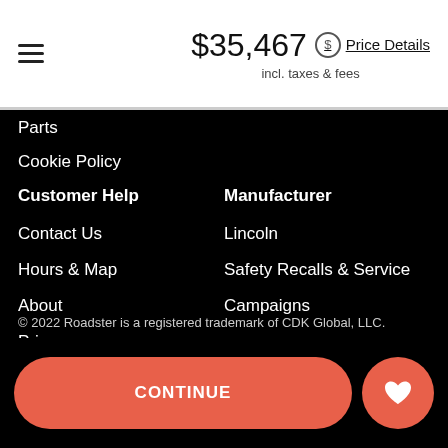$35,467 Price Details incl. taxes & fees
Parts
Cookie Policy
Customer Help
Contact Us
Hours & Map
About
Privacy
Terms
Sitemap
Manufacturer
Lincoln
Safety Recalls & Service
Campaigns
© 2022 Roadster is a registered trademark of CDK Global, LLC.
CONTINUE